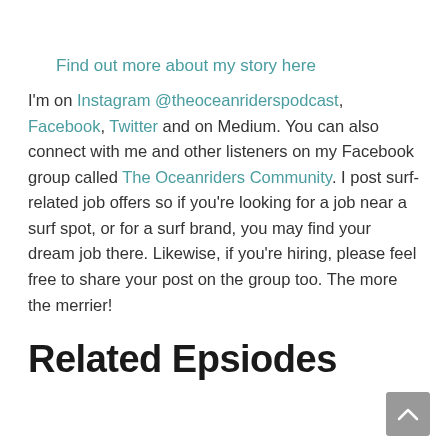Find out more about my story here
I'm on Instagram @theoceanriderspodcast, Facebook, Twitter and on Medium. You can also connect with me and other listeners on my Facebook group called The Oceanriders Community. I post surf-related job offers so if you're looking for a job near a surf spot, or for a surf brand, you may find your dream job there. Likewise, if you're hiring, please feel free to share your post on the group too. The more the merrier!
Related Epsiodes